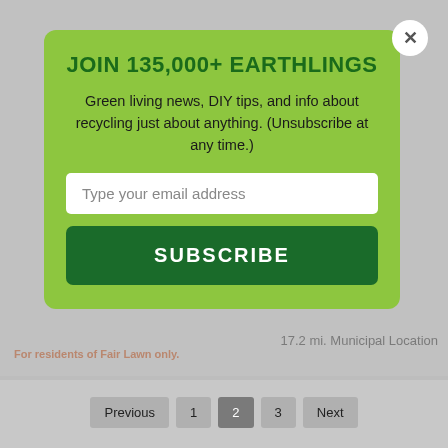JOIN 135,000+ EARTHLINGS
Green living news, DIY tips, and info about recycling just about anything. (Unsubscribe at any time.)
Type your email address
SUBSCRIBE
For residents of Fair Lawn only.
17.2 mi. Municipal Location
Previous  1  2  3  Next